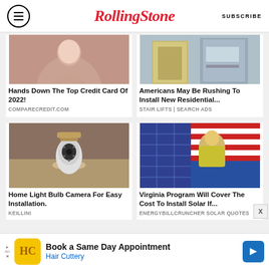RollingStone | SUBSCRIBE
[Figure (photo): Woman posing in pink/mauve sweater]
Hands Down The Top Credit Card Of 2022!
COMPARECREDIT.COM
[Figure (photo): Stair lift chair on stairs]
Americans May Be Rushing To Install New Residential...
STAIR LIFTS | SEARCH ADS
[Figure (photo): Hand holding a light bulb security camera]
Home Light Bulb Camera For Easy Installation.
KEILLINI
[Figure (photo): Blonde woman in yellow shirt with American flag background]
Virginia Program Will Cover The Cost To Install Solar If...
ENERGYBILLCRUNCHER SOLAR QUOTES
Book a Same Day Appointment
Hair Cuttery